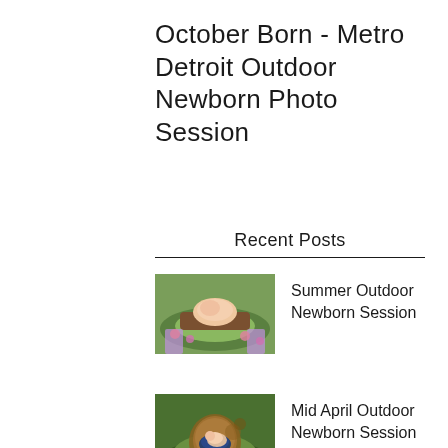October Born - Metro Detroit Outdoor Newborn Photo Session
Recent Posts
[Figure (photo): Thumbnail photo of a newborn baby outdoors on a wooden prop surrounded by greenery and flowers - Summer Outdoor Newborn Session]
Summer Outdoor Newborn Session
[Figure (photo): Thumbnail photo of a newborn baby in a basket prop outdoors surrounded by lush green foliage - Mid April Outdoor Newborn Session]
Mid April Outdoor Newborn Session